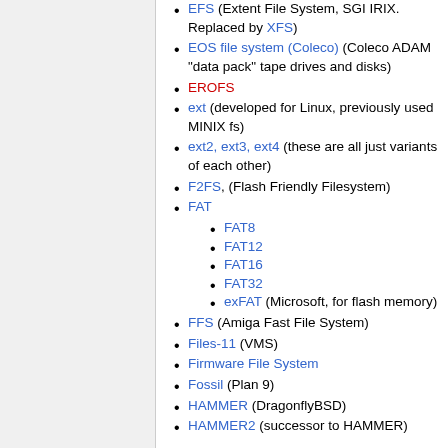EFS (Extent File System, SGI IRIX. Replaced by XFS)
EOS file system (Coleco) (Coleco ADAM "data pack" tape drives and disks)
EROFS
ext (developed for Linux, previously used MINIX fs)
ext2, ext3, ext4 (these are all just variants of each other)
F2FS, (Flash Friendly Filesystem)
FAT
FAT8
FAT12
FAT16
FAT32
exFAT (Microsoft, for flash memory)
FFS (Amiga Fast File System)
Files-11 (VMS)
Firmware File System
Fossil (Plan 9)
HAMMER (DragonflyBSD)
HAMMER2 (successor to HAMMER)